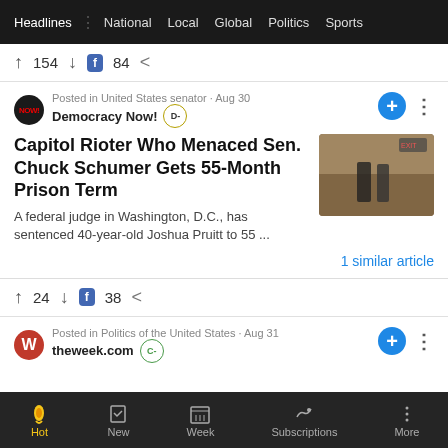Headlines  National  Local  Global  Politics  Sports
↑ 154 ↓  f 84  <
Posted in United States senator · Aug 30  Democracy Now!  D-
Capitol Rioter Who Menaced Sen. Chuck Schumer Gets 55-Month Prison Term
A federal judge in Washington, D.C., has sentenced 40-year-old Joshua Pruitt to 55 ...
1 similar article
↑ 24 ↓  f 38  <
Posted in Politics of the United States · Aug 31  theweek.com  C-
Hot  New  Week  Subscriptions  More